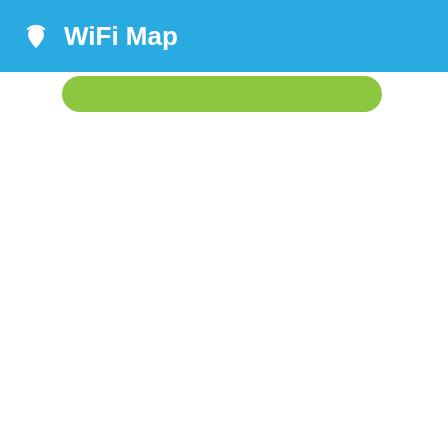WiFi Map
[Figure (screenshot): Green rounded button/bar below the blue header]